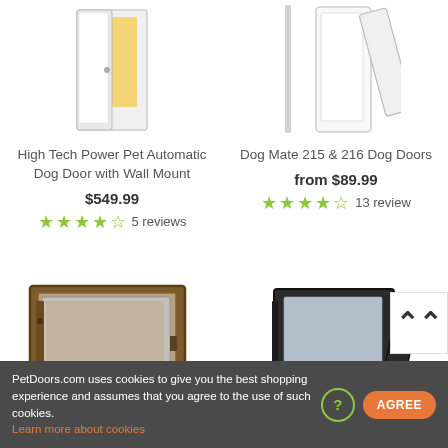[Figure (photo): High Tech Power Pet Automatic Dog Door with Wall Mount product image - white door unit]
High Tech Power Pet Automatic Dog Door with Wall Mount
$549.99
4.5 stars, 5 reviews
[Figure (photo): Dog Mate 215 & 216 Dog Doors product image - white door unit]
Dog Mate 215 & 216 Dog Doors
from $89.99
4.5 stars, 13 reviews
[Figure (photo): Large glass dog door product image - bronze/dark frame with glass flap]
[Figure (photo): Dark framed dog door product image with cable mechanism]
PetDoors.com uses cookies to give you the best shopping experience and assumes that you agree to the use of such cookies. Learn more about cookies